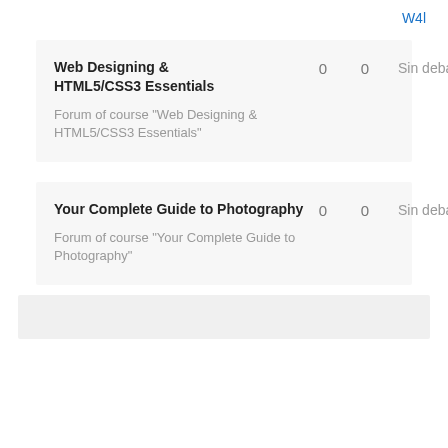W4l
| Course | 0 | 0 | Status |
| --- | --- | --- | --- |
| Web Designing & HTML5/CSS3 Essentials
Forum of course "Web Designing & HTML5/CSS3 Essentials" | 0 | 0 | Sin debates |
| Your Complete Guide to Photography
Forum of course "Your Complete Guide to Photography" | 0 | 0 | Sin debates |